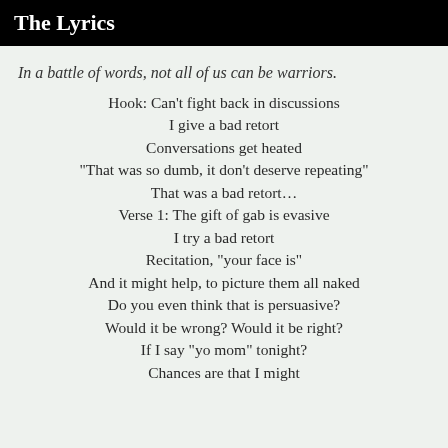The Lyrics
In a battle of words, not all of us can be warriors.
Hook: Can't fight back in discussions
I give a bad retort
Conversations get heated
“That was so dumb, it don’t deserve repeating”

That was a bad retort…

Verse 1: The gift of gab is evasive
I try a bad retort
Recitation, “your face is”
And it might help, to picture them all naked
Do you even think that is persuasive?
Would it be wrong? Would it be right?
If I say “yo mom” tonight?
Chances are that I might